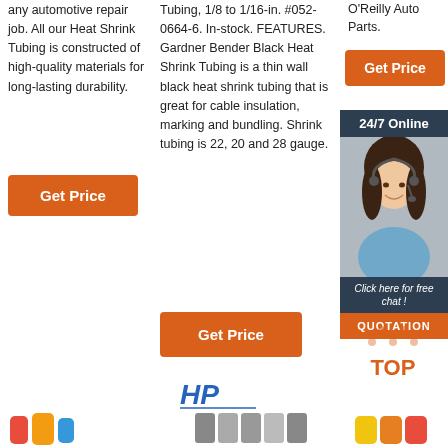any automotive repair job. All our Heat Shrink Tubing is constructed of high-quality materials for long-lasting durability.
[Figure (other): Orange 'Get Price' button in column 1]
Tubing, 1/8 to 1/16-in. #052-0664-6. In-stock. FEATURES. Gardner Bender Black Heat Shrink Tubing is a thin wall black heat shrink tubing that is great for cable insulation, marking and bundling. Shrink tubing is 22, 20 and 28 gauge.
[Figure (other): Orange 'Get Price' button in column 3 (right side panel)]
[Figure (other): Dark panel with '24/7 Online' label, customer service representative photo, 'Click here for free chat!' text, and 'QUOTATION' orange button]
[Figure (other): Orange 'Get Price' button in column 2]
[Figure (other): TOP logo with dotted triangle design]
[Figure (logo): HP brand logo]
[Figure (photo): Colorful heat shrink tubing products at the bottom of the page]